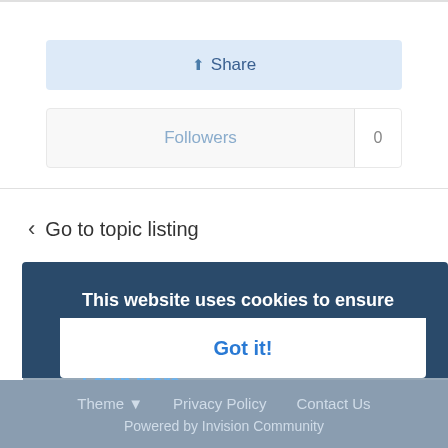Share
Followers  0
Go to topic listing
Recently Browsing   0 members
No registered users viewing this page.
This website uses cookies to ensure you get the best experience on our website.
Learn more
Got it!
Theme  Privacy Policy  Contact Us
Powered by Invision Community